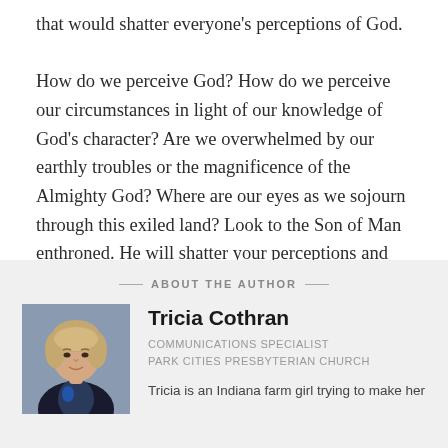that would shatter everyone's perceptions of God.

How do we perceive God? How do we perceive our circumstances in light of our knowledge of God's character? Are we overwhelmed by our earthly troubles or the magnificence of the Almighty God? Where are our eyes as we sojourn through this exiled land? Look to the Son of Man enthroned. He will shatter your perceptions and give you a new vision of God.
ABOUT THE AUTHOR
[Figure (photo): Headshot photo of Tricia Cothran, a woman with light hair wearing a dark jacket]
Tricia Cothran
COMMUNICATIONS SPECIALIST
PARK CITIES PRESBYTERIAN CHURCH
Tricia is an Indiana farm girl trying to make her